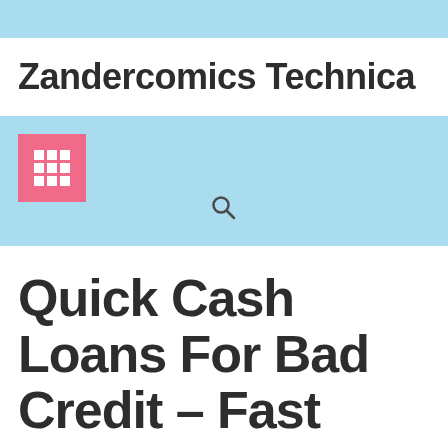Zandercomics Technica
[Figure (screenshot): Navigation bar with pink grid/menu icon and search magnifying glass icon on light blue background]
Quick Cash Loans For Bad Credit – Fast Money